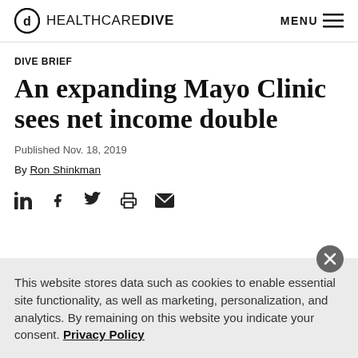HEALTHCARE DIVE — MENU
DIVE BRIEF
An expanding Mayo Clinic sees net income double
Published Nov. 18, 2019
By Ron Shinkman
[Figure (other): Social sharing icons: LinkedIn, Facebook, Twitter, Print, Email]
This website stores data such as cookies to enable essential site functionality, as well as marketing, personalization, and analytics. By remaining on this website you indicate your consent. Privacy Policy